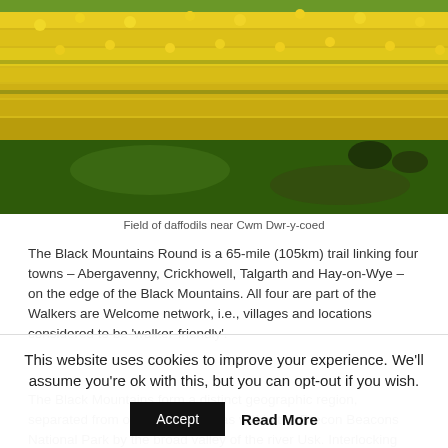[Figure (photo): Field of yellow daffodils on a grassy hillside near Cwm Dwr-y-coed]
Field of daffodils near Cwm Dwr-y-coed
The Black Mountains Round is a 65-mile (105km) trail linking four towns – Abergavenny, Crickhowell, Talgarth and Hay-on-Wye – on the edge of the Black Mountains. All four are part of the Walkers are Welcome network, i.e., villages and locations considered to be 'walker-friendly'.
The Black Mountains form a distinct geographic region, separated from other upland areas within the Brecon Beacons National Park by the broad valley of the river Usk. Interlocking ridges and deep river valleys create a wonderfully varied landscape with new and beautiful vistas round almost every
This website uses cookies to improve your experience. We'll assume you're ok with this, but you can opt-out if you wish.